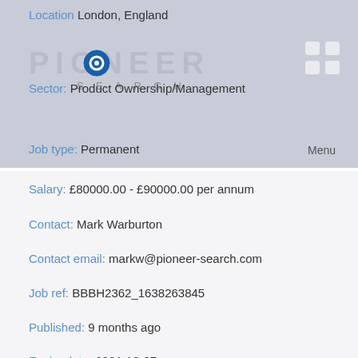Location London, England
[Figure (logo): Pioneer Search logo with blue circle icon and grid icon]
Sector: Product Ownership/Management
Job type: Permanent
Salary: £80000.00 - £90000.00 per annum
Contact: Mark Warburton
Contact email: markw@pioneer-search.com
Job ref: BBBH2362_1638263845
Published: 9 months ago
Expiry date: 2021-12-07
Technical Product Owner - API Development, Micro-services, SDK, Customer Onboarding, KYC, Digital Banking, Retail Banking
Technical Product Owner is required to help integrate API's for a FinTech's public facing platform. My client are looking to expand their Product team, and are looking for a Technical Product Owner with experience integrating API's into a microservice platform.